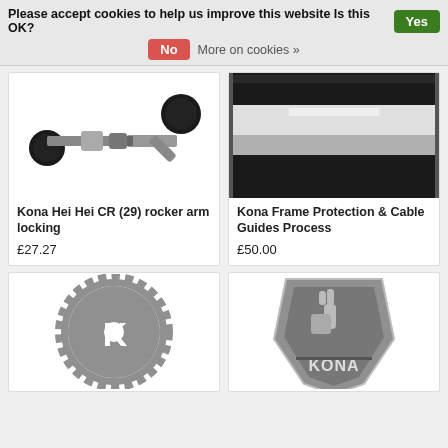Please accept cookies to help us improve this website Is this OK? Yes No More on cookies »
[Figure (photo): Kona Hei Hei CR (29) rocker arm locking pin - a small metal cylindrical component with black rubber ends]
Kona Hei Hei CR (29) rocker arm locking
£27.27
[Figure (photo): Kona Frame Protection & Cable Guides Process - close-up of black and white bicycle frame protection strips]
Kona Frame Protection & Cable Guides Process
£50.00
[Figure (logo): Kona logo - grey chainring with K letter inside]
[Figure (logo): Kona badge logo - shield with thumbs up and KONA text]